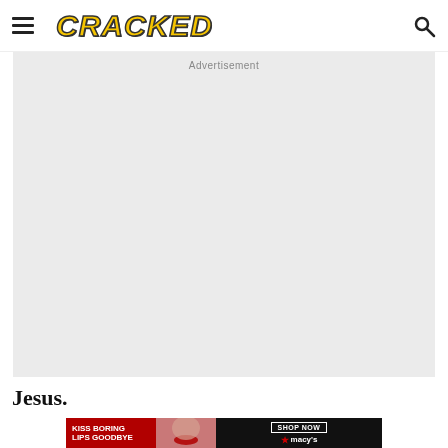CRACKED
[Figure (other): Advertisement placeholder block, light gray background]
Jesus.
[Figure (photo): Macy's advertisement banner: woman with red lips, text reads KISS BORING LIPS GOODBYE, SHOP NOW, macy's star logo]